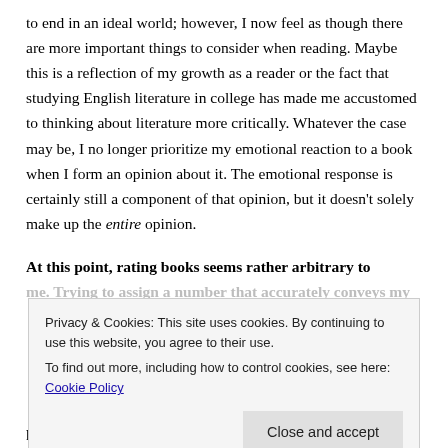to end in an ideal world; however, I now feel as though there are more important things to consider when reading. Maybe this is a reflection of my growth as a reader or the fact that studying English literature in college has made me accustomed to thinking about literature more critically. Whatever the case may be, I no longer prioritize my emotional reaction to a book when I form an opinion about it. The emotional response is certainly still a component of that opinion, but it doesn't solely make up the entire opinion.
At this point, rating books seems rather arbitrary to me. Trying to assign a number that accurately conveys my
Privacy & Cookies: This site uses cookies. By continuing to use this website, you agree to their use. To find out more, including how to control cookies, see here: Cookie Policy
plenty of books that I've "enjoyed" that are terribly sad or